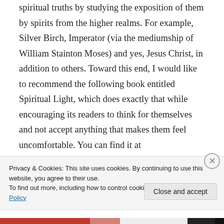spiritual truths by studying the exposition of them by spirits from the higher realms. For example, Silver Birch, Imperator (via the mediumship of William Stainton Moses) and yes, Jesus Christ, in addition to others. Toward this end, I would like to recommend the following book entitled Spiritual Light, which does exactly that while encouraging its readers to think for themselves and not accept anything that makes them feel uncomfortable. You can find it at https://www.amazon.com/Spiritual-Light-
Privacy & Cookies: This site uses cookies. By continuing to use this website, you agree to their use.
To find out more, including how to control cookies, see here: Cookie Policy